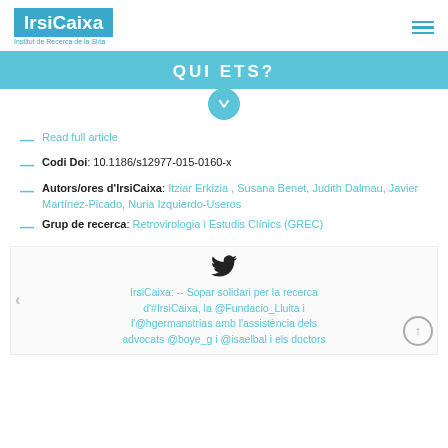IrsiCaixa — Institut de Recerca de la Sida
QUI ETS?
Read full article
Codi Doi: 10.1186/s12977-015-0160-x
Autors/ores d'IrsiCaixa: Itziar Erkizia , Susana Benet, Judith Dalmau, Javier Martínez-Picado, Nuria Izquierdo-Useros
Grup de recerca: Retrovirologia i Estudis Clínics (GREC)
IrsiCaixa: -- Sopar solidari per la recerca d'#IrsiCaixa, la @Fundacio_Lluita i l'@hgermanstrias amb l'assistència dels advocats @boye_g i @isaelbal i els doctors